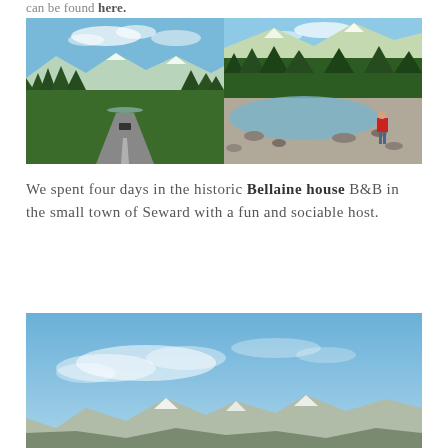can be found here.
[Figure (photo): Two side-by-side outdoor photos: left shows a highway through forested mountains in Alaska with snow-capped peaks; right shows a person standing at a rocky riverbank surrounded by trees and mountains.]
We spent four days in the historic Bellaine house B&B in the small town of Seward with a fun and sociable host.
[Figure (photo): Wide landscape photo of a blue sky with wispy clouds over a mountain range with snow-capped peaks visible at the bottom edge.]